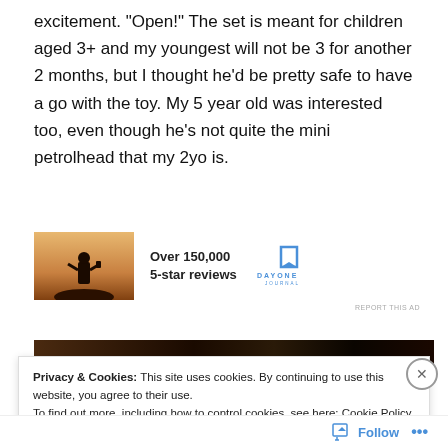excitement. "Open!" The set is meant for children aged 3+ and my youngest will not be 3 for another 2 months, but I thought he'd be pretty safe to have a go with the toy. My 5 year old was interested too, even though he's not quite the mini petrolhead that my 2yo is.
[Figure (photo): Advertisement banner showing a person photographing a sunset, with text 'Over 150,000 5-star reviews' and Day One Journal logo]
[Figure (photo): Dark brown/black image strip, partially visible behind a cookie consent banner]
Privacy & Cookies: This site uses cookies. By continuing to use this website, you agree to their use.
To find out more, including how to control cookies, see here: Cookie Policy
Close and accept